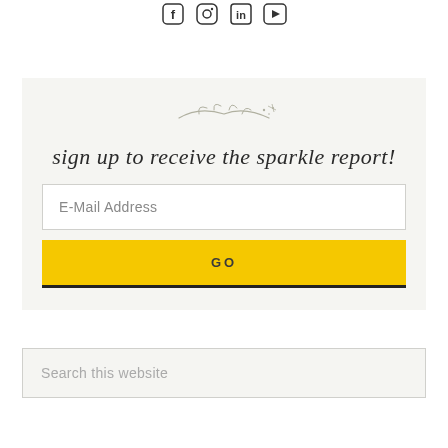[Figure (infographic): Social media icons row: Facebook, Instagram, LinkedIn, YouTube icons displayed at the top center]
[Figure (illustration): Decorative hand-drawn sparkle/branch illustration]
sign up to receive the sparkle report!
E-Mail Address
GO
Search this website